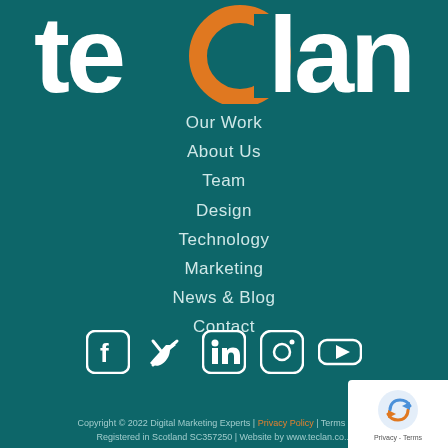[Figure (logo): Teclan logo — white text 'teclan' with orange circular arc replacing the letter 'o', on teal background]
Our Work
About Us
Team
Design
Technology
Marketing
News & Blog
Contact
[Figure (illustration): Social media icons: Facebook, Twitter, LinkedIn, Instagram, YouTube — all white on teal background]
Copyright © 2022 Digital Marketing Experts | Privacy Policy | Terms & C... Registered in Scotland SC357250 | Website by www.teclan.co...